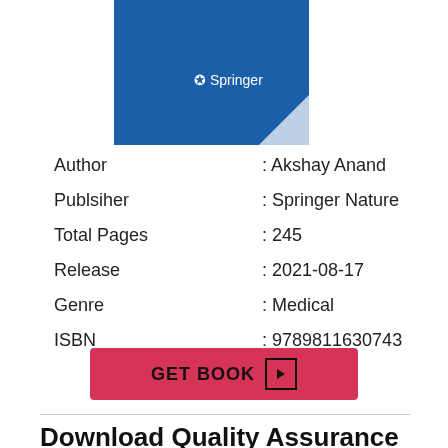[Figure (illustration): Book cover with blue background and Springer logo with a page curl in the bottom right corner]
| Author | : Akshay Anand |
| Publsiher | : Springer Nature |
| Total Pages | : 245 |
| Release | : 2021-08-17 |
| Genre | : Medical |
| ISBN | : 9789811630743 |
GET BOOK ▶
Download Quality Assurance Implementation in Research